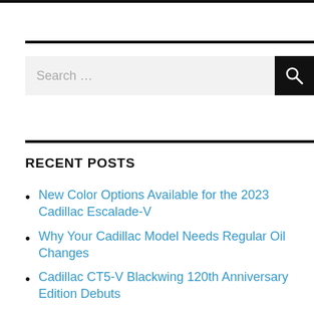[Figure (other): Search bar with text 'Search ...' and a black search button with magnifying glass icon]
RECENT POSTS
New Color Options Available for the 2023 Cadillac Escalade-V
Why Your Cadillac Model Needs Regular Oil Changes
Cadillac CT5-V Blackwing 120th Anniversary Edition Debuts